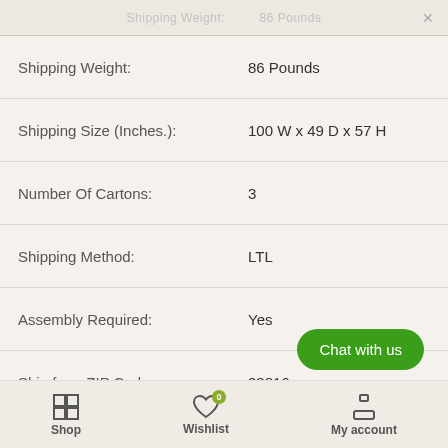Shipping Weight: 86 Pounds
| Attribute | Value |
| --- | --- |
| Shipping Weight: | 86 Pounds |
| Shipping Size (Inches.): | 100 W x 49 D x 57 H |
| Number Of Cartons: | 3 |
| Shipping Method: | LTL |
| Assembly Required: | Yes |
| Ship from ZIP Code: | 08816 |
| Ship Palletized: | No |
Shop  Wishlist 0  My account